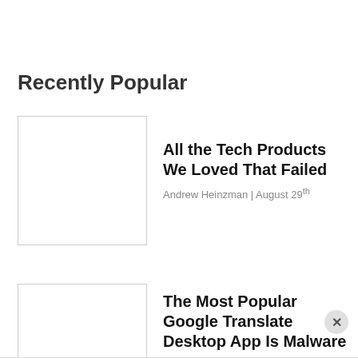Recently Popular
[Figure (photo): Thumbnail image placeholder for article 1]
All the Tech Products We Loved That Failed
Andrew Heinzman | August 29th
[Figure (photo): Thumbnail image placeholder for article 2]
The Most Popular Google Translate Desktop App Is Malware